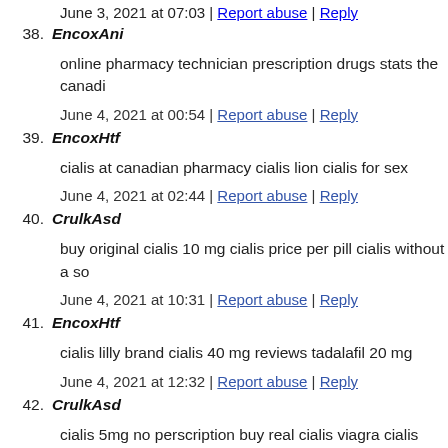June 3, 2021 at 07:03 | Report abuse | Reply
38. EncoxAni
online pharmacy technician prescription drugs stats the canadi…
June 4, 2021 at 00:54 | Report abuse | Reply
39. EncoxHtf
cialis at canadian pharmacy cialis lion cialis for sex
June 4, 2021 at 02:44 | Report abuse | Reply
40. CrulkAsd
buy original cialis 10 mg cialis price per pill cialis without a so…
June 4, 2021 at 10:31 | Report abuse | Reply
41. EncoxHtf
cialis lilly brand cialis 40 mg reviews tadalafil 20 mg
June 4, 2021 at 12:32 | Report abuse | Reply
42. CrulkAsd
cialis 5mg no perscription buy real cialis viagra cialis